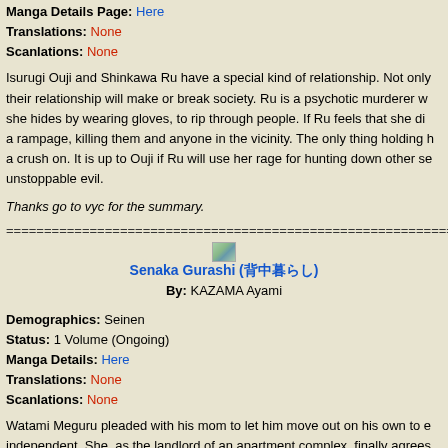Manga Details Page: Here
Translations: None
Scanlations: None
Isurugi Ouji and Shinkawa Ru have a special kind of relationship. Not only their relationship will make or break society. Ru is a psychotic murderer w she hides by wearing gloves, to rip through people. If Ru feels that she di a rampage, killing them and anyone in the vicinity. The only thing holding h a crush on. It is up to Ouji if Ru will use her rage for hunting down other se unstoppable evil.
Thanks go to vyc for the summary.
================================================================
[Figure (illustration): Small thumbnail image for Senaka Gurashi manga]
Senaka Gurashi (背中暮らし)
By: KAZAMA Ayami
Demographics: Seinen
Status: 1 Volume (Ongoing)
Manga Details: Here
Translations: None
Scanlations: None
Watami Meguru pleaded with his mom to let him move out on his own to e independent. She, as the landlord of an apartment complex, finally agrees room for the summer. But the sadistic mother makes the wall between he meaning there is no privacy between the two rooms. If living openly with a enough, his neighbor is a cute girl his age, Kana. They immediately get of isn't what Meguru imagined it would be like at all.